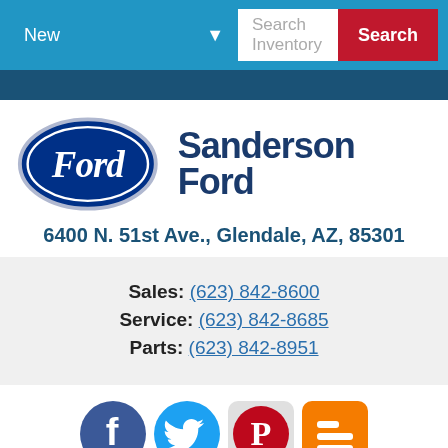[Figure (screenshot): Navigation bar with New dropdown, Search Inventory input, and Search button]
[Figure (logo): Ford oval logo and Sanderson Ford dealership name]
6400 N. 51st Ave., Glendale, AZ, 85301
Sales: (623) 842-8600
Service: (623) 842-8685
Parts: (623) 842-8951
[Figure (infographic): Social media icons: Facebook, Twitter, Pinterest, Blogger]
Privacy Policy   Site Map
[Figure (logo): Powered By NLM badge and Chat Text button]